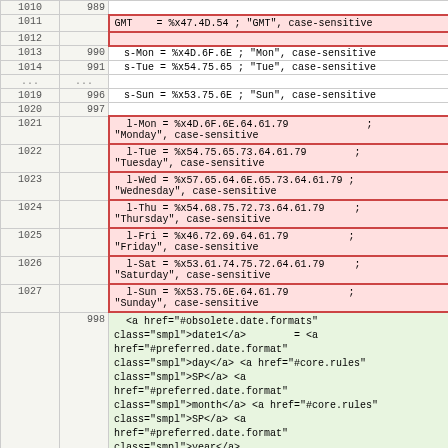| line | ref | content |
| --- | --- | --- |
| 1010 | 989 |  |
| 1011 |  | GMT    = %x47.4D.54 ; "GMT", case-sensitive |
| 1012 |  |  |
| 1013 | 990 | s-Mon = %x4D.6F.6E ; "Mon", case-sensitive |
| 1014 | 991 | s-Tue = %x54.75.65 ; "Tue", case-sensitive |
| ... | ... |  |
| 1019 | 996 | s-Sun = %x53.75.6E ; "Sun", case-sensitive |
| 1020 | 997 |  |
| 1021 |  | l-Mon = %x4D.6F.6E.64.61.79         ;
"Monday", case-sensitive |
| 1022 |  | l-Tue = %x54.75.65.73.64.61.79      ;
"Tuesday", case-sensitive |
| 1023 |  | l-Wed = %x57.65.64.6E.65.73.64.61.79 ;
"Wednesday", case-sensitive |
| 1024 |  | l-Thu = %x54.68.75.72.73.64.61.79   ;
"Thursday", case-sensitive |
| 1025 |  | l-Fri = %x46.72.69.64.61.79         ;
"Friday", case-sensitive |
| 1026 |  | l-Sat = %x53.61.74.75.72.64.61.79   ;
"Saturday", case-sensitive |
| 1027 |  | l-Sun = %x53.75.6E.64.61.79         ;
"Sunday", case-sensitive |
|  | 998 | <a href="#obsolete.date.formats" class="smpl">date1</a>      = <a href="#preferred.date.format" class="smpl">day</a> <a href="#core.rules" class="smpl">SP</a> <a href="#preferred.date.format" class="smpl">month</a> <a href="#core.rules" class="smpl">SP</a> <a href="#preferred.date.format" class="smpl">year</a> |
|  | 999 | ; e.g., 02 Jun 1982 |
|  | 1000 |  |
|  | 1001 | <a href="#preferred.date.format" |